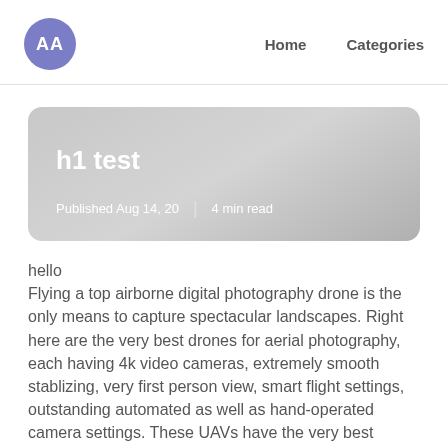AA | Home | Categories
h1 test
Published Aug 14, 20 | 4 min read
hello
Flying a top airborne digital photography drone is the only means to capture spectacular landscapes. Right here are the very best drones for aerial photography, each having 4k video cameras, extremely smooth stablizing, very first person view, smart flight settings, outstanding automated as well as hand-operated camera settings. These UAVs have the very best cameras for drone digital photography and all have a